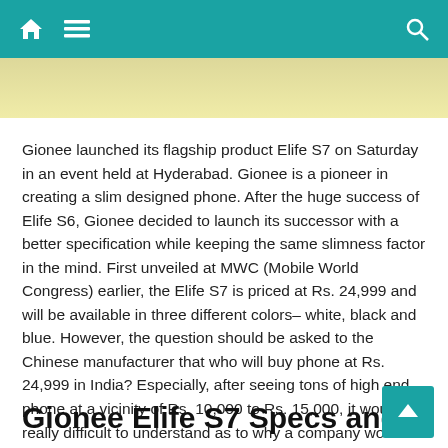Navigation bar with home, menu, and search icons
[Figure (other): Light yellow/beige banner area below navigation]
Gionee launched its flagship product Elife S7 on Saturday in an event held at Hyderabad. Gionee is a pioneer in creating a slim designed phone. After the huge success of Elife S6, Gionee decided to launch its successor with a better specification while keeping the same slimness factor in the mind. First unveiled at MWC (Mobile World Congress) earlier, the Elife S7 is priced at Rs. 24,999 and will be available in three different colors– white, black and blue. However, the question should be asked to the Chinese manufacturer that who will buy phone at Rs. 24,999 in India? Especially, after seeing tons of high end phone at a vicinity of Rs. 10,000 to Rs. 15,000, it would be really difficult to understand as to why a company would go for such aggressive price range.
Gionee Elife S7 Specs and